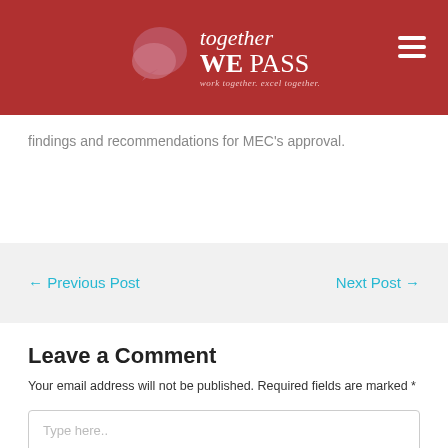[Figure (logo): Together We Pass logo with speech bubble graphics and tagline 'work together. excel together.' on dark red background]
findings and recommendations for MEC's approval.
← Previous Post
Next Post →
Leave a Comment
Your email address will not be published. Required fields are marked *
Type here..